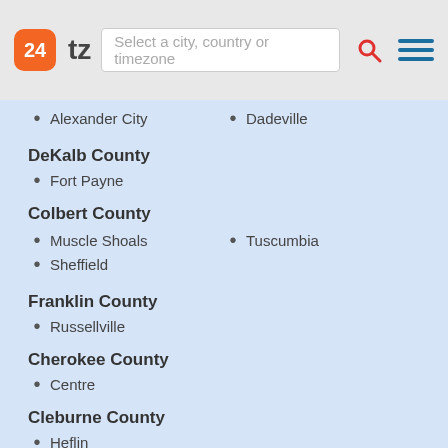24tz — Select a city, country or timezone
Alexander City
Dadeville
DeKalb County
Fort Payne
Colbert County
Muscle Shoals
Tuscumbia
Sheffield
Franklin County
Russellville
Cherokee County
Centre
Cleburne County
Heflin
Lawrence County
Moulton